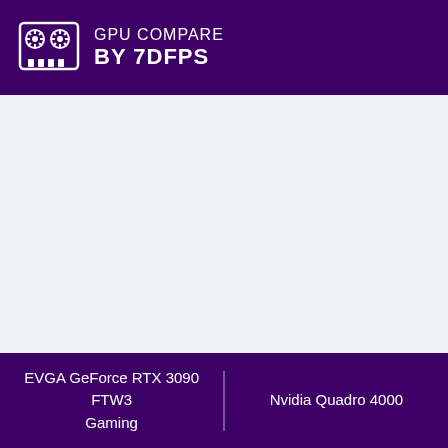GPU COMPARE BY 7DFPS
EVGA GeForce RTX 3090 FTW3 Gaming | Nvidia Quadro 4000